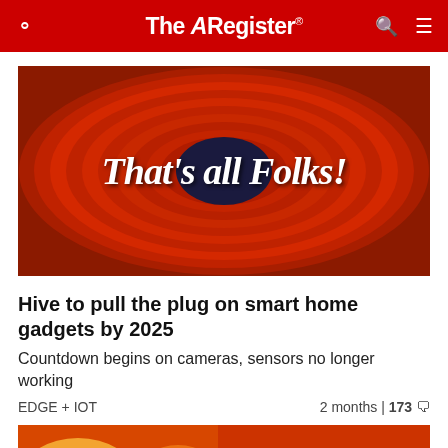The Register
[Figure (illustration): Looney Tunes style 'That's all Folks!' end card illustration with concentric red rings and dark blue center circle, white cursive lettering]
Hive to pull the plug on smart home gadgets by 2025
Countdown begins on cameras, sensors no longer working
EDGE + IOT   2 months | 173 💬